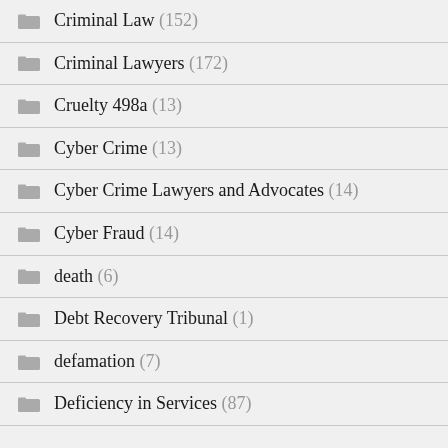Criminal Law (152)
Criminal Lawyers (172)
Cruelty 498a (13)
Cyber Crime (13)
Cyber Crime Lawyers and Advocates (14)
Cyber Fraud (14)
death (6)
Debt Recovery Tribunal (1)
defamation (7)
Deficiency in Services (87)